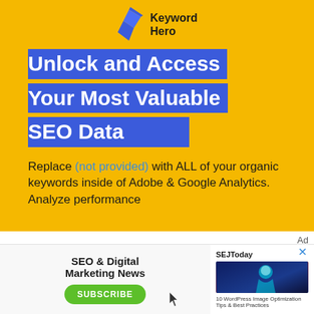[Figure (logo): Keyword Hero logo with blue lightning bolt icon and text 'Keyword Hero']
Unlock and Access Your Most Valuable SEO Data
Replace (not provided) with ALL of your organic keywords inside of Adobe & Google Analytics. Analyze performance
[Figure (infographic): Bottom advertisement banner: SEO & Digital Marketing News newsletter subscription with SUBSCRIBE button, and SEJ Today section with image and WordPress article preview]
Ad